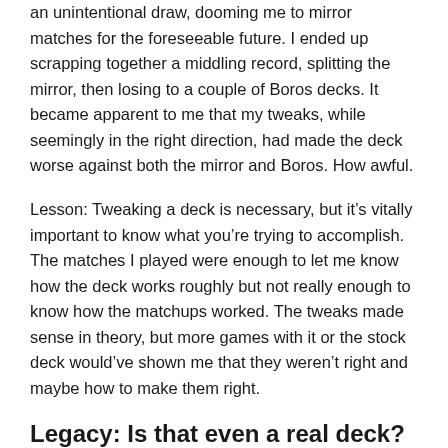an unintentional draw, dooming me to mirror matches for the foreseeable future. I ended up scrapping together a middling record, splitting the mirror, then losing to a couple of Boros decks. It became apparent to me that my tweaks, while seemingly in the right direction, had made the deck worse against both the mirror and Boros. How awful.
Lesson: Tweaking a deck is necessary, but it's vitally important to know what you're trying to accomplish. The matches I played were enough to let me know how the deck works roughly but not really enough to know how the matchups worked. The tweaks made sense in theory, but more games with it or the stock deck would've shown me that they weren't right and maybe how to make them right.
Legacy: Is that even a real deck?
The subtitle “Is that even a real deck?” is primarily meant as a jab at Legacy. There are usually a number of decks of completely unknown value, where it’s hard to know